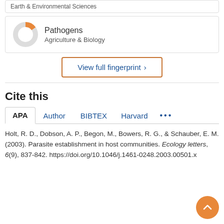Earth & Environmental Sciences
[Figure (donut-chart): Donut chart mostly grey with small orange segment, representing Pathogens in Agriculture & Biology]
Pathogens
Agriculture & Biology
View full fingerprint >
Cite this
APA | Author | BIBTEX | Harvard | ...
Holt, R. D., Dobson, A. P., Begon, M., Bowers, R. G., & Schauber, E. M. (2003). Parasite establishment in host communities. Ecology letters, 6(9), 837-842. https://doi.org/10.1046/j.1461-0248.2003.00501.x